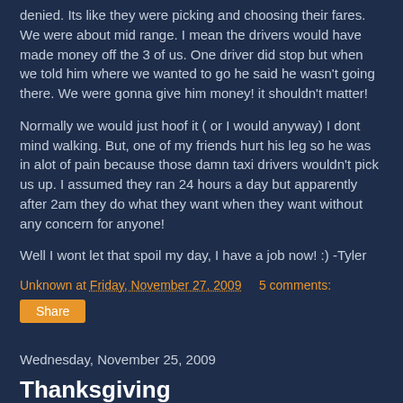denied. Its like they were picking and choosing their fares. We were about mid range. I mean the drivers would have made money off the 3 of us. One driver did stop but when we told him where we wanted to go he said he wasn't going there. We were gonna give him money! it shouldn't matter!
Normally we would just hoof it ( or I would anyway) I dont mind walking. But, one of my friends hurt his leg so he was in alot of pain because those damn taxi drivers wouldn't pick us up. I assumed they ran 24 hours a day but apparently after 2am they do what they want when they want without any concern for anyone!
Well I wont let that spoil my day, I have a job now! :) -Tyler
Unknown at Friday, November 27, 2009     5 comments:
Share
Wednesday, November 25, 2009
Thanksgiving